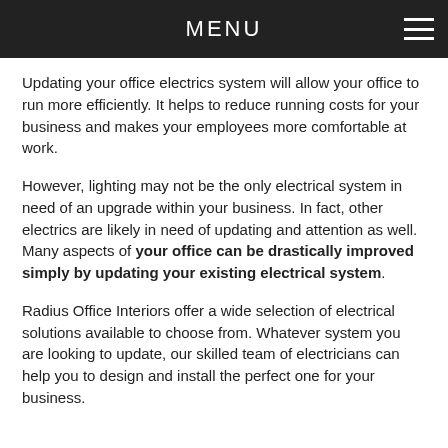MENU
Updating your office electrics system will allow your office to run more efficiently. It helps to reduce running costs for your business and makes your employees more comfortable at work.
However, lighting may not be the only electrical system in need of an upgrade within your business. In fact, other electrics are likely in need of updating and attention as well. Many aspects of your office can be drastically improved simply by updating your existing electrical system.
Radius Office Interiors offer a wide selection of electrical solutions available to choose from. Whatever system you are looking to update, our skilled team of electricians can help you to design and install the perfect one for your business.